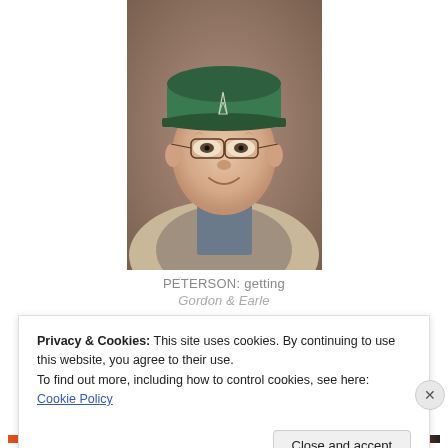[Figure (photo): Elderly man wearing a green baseball cap with an oil derrick logo, glasses, a plaid shirt and beige jacket, smiling at the camera. Background is blurred brownish.]
PETERSON: getting
Gordon & Earle
Privacy & Cookies: This site uses cookies. By continuing to use this website, you agree to their use.
To find out more, including how to control cookies, see here: Cookie Policy
Close and accept